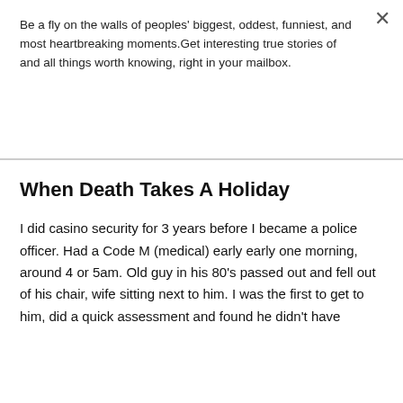Be a fly on the walls of peoples' biggest, oddest, funniest, and most heartbreaking moments.Get interesting true stories of and all things worth knowing, right in your mailbox.
Subscribe
When Death Takes A Holiday
I did casino security for 3 years before I became a police officer. Had a Code M (medical) early early one morning, around 4 or 5am. Old guy in his 80's passed out and fell out of his chair, wife sitting next to him. I was the first to get to him, did a quick assessment and found he didn't have a pulse immediately started CPR. The old lady...